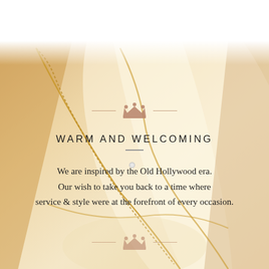[Figure (photo): Close-up photograph of golden/cream colored satin fabric with a decorative chain or cord crossing diagonally, warm golden-beige tones, softly blurred background]
WARM AND WELCOMING
We are inspired by the Old Hollywood era. Our wish to take you back to a time where service & style were at the forefront of every occasion.